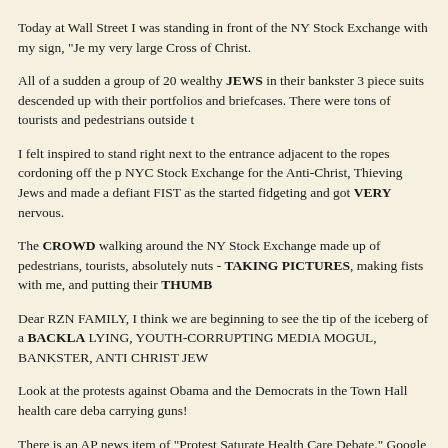Today at Wall Street I was standing in front of the NY Stock Exchange with my sign, “Je my very large Cross of Christ.
All of a sudden a group of 20 wealthy JEWS in their bankster 3 piece suits descended up with their portfolios and briefcases. There were tons of tourists and pedestrians outside t
I felt inspired to stand right next to the entrance adjacent to the ropes cordoning off the p NYC Stock Exchange for the Anti-Christ, Thieving Jews and made a defiant FIST as the started fidgeting and got VERY nervous.
The CROWD walking around the NY Stock Exchange made up of pedestrians, tourists, absolutely nuts - TAKING PICTURES, making fists with me, and putting their THUMB
Dear RZN FAMILY, I think we are beginning to see the tip of the iceberg of a BACKLA LYING, YOUTH-CORRUPTING MEDIA MOGUL, BANKSTER, ANTI CHRIST JEW
Look at the protests against Obama and the Democrats in the Town Hall health care deba carrying guns!
There is an AP news item of “Protest Saturate Health Care Debate.” Google it and you w BACKLASH AGAINST THE LYING JEWS AND THEIR PUPPETS LIKE OBAMA -
Next, I went to Times Square and AGAIN, I was mobbed not only by the Youth BUT by children up to me to takd pictures of me.
A group of Israel young college age kids stood enthralled before me and after I made the them they came up to me and I got a chance to confess Christ as the “Jewish Messiah” to